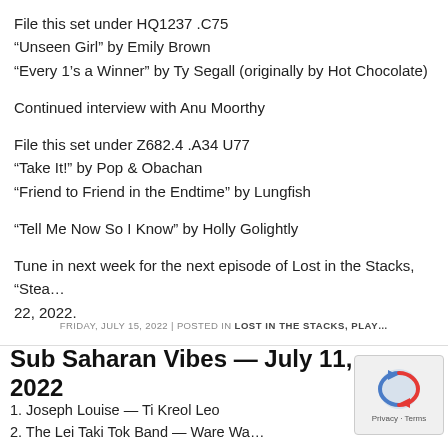File this set under HQ1237 .C75
“Unseen Girl” by Emily Brown
“Every 1’s a Winner” by Ty Segall (originally by Hot Chocolate)
Continued interview with Anu Moorthy
File this set under Z682.4 .A34 U77
“Take It!” by Pop & Obachan
“Friend to Friend in the Endtime” by Lungfish
“Tell Me Now So I Know” by Holly Golightly
Tune in next week for the next episode of Lost in the Stacks, “Stea… 22, 2022.
FRIDAY, JULY 15, 2022 | POSTED IN LOST IN THE STACKS, PLAY…
Sub Saharan Vibes — July 11, 2022
1. Joseph Louise — Ti Kreol Leo
2. The Lei Taki Tok Band — Ware Wa…